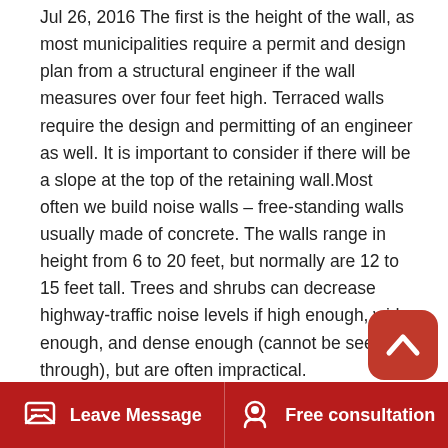Jul 26, 2016 The first is the height of the wall, as most municipalities require a permit and design plan from a structural engineer if the wall measures over four feet high. Terraced walls require the design and permitting of an engineer as well. It is important to consider if there will be a slope at the top of the retaining wall.Most often we build noise walls – free-standing walls usually made of concrete. The walls range in height from 6 to 20 feet, but normally are 12 to 15 feet tall. Trees and shrubs can decrease highway-traffic noise levels if high enough, wide enough, and dense enough (cannot be seen through), but are often impractical.
How To Plant A Climber Rhs Gardening
Aug 24, 2017 A small retaining wall less than three feet in height will cost an average of $5 to $8 per square foot, if you build it yourself. Larger retaining walls, which are not DIY-friendly, can in…Plant Madeline feet at grade. The build…
Leave Message   Free consultation